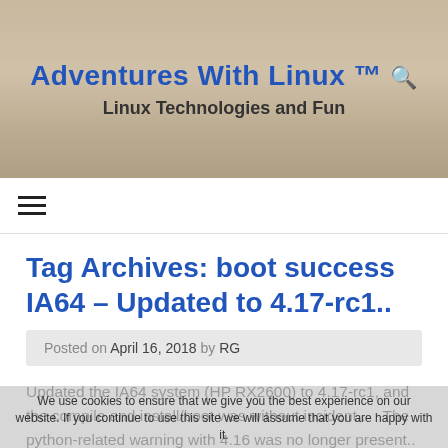Adventures With Linux ™ [search icon]
Linux Technologies and Fun
Tag Archives: boot success IA64 – Updated to 4.17-rc1..
Posted on April 16, 2018 by RG
Updated the IA64 system (HP RX2600) to 4.17-rc1, and the compile and install/boot was without incident..    The python-related warning with 4.16 was no longer present.. (see http://rglinuxtech.com/?p=2222 ). …………… [ OK ] Started Getty on tty1. [ OK ] Reached target Login Prompts. [ OK ] Started Login Service. [ OK ] Reached target Multi-User System. [
We use cookies to ensure that we give you the best experience on our website. If you continue to use this site we will assume that you are happy with it.